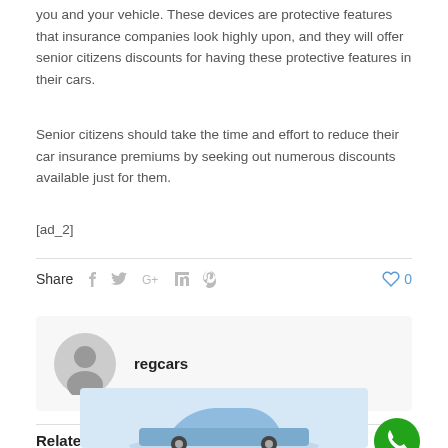you and your vehicle. These devices are protective features that insurance companies look highly upon, and they will offer senior citizens discounts for having these protective features in their cars.
Senior citizens should take the time and effort to reduce their car insurance premiums by seeking out numerous discounts available just for them.
[ad_2]
Share  f  t  G+  in  P  0
regcars
Related posts
Call Now
[Figure (photo): Partial view of a car at the bottom of the page in the Related posts section]